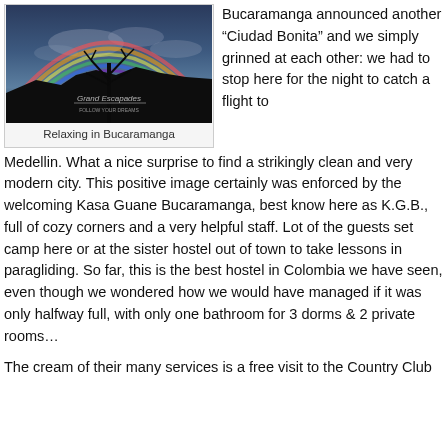[Figure (photo): Photograph of a large rainbow arching over a silhouetted tree and dark hills at dusk, with 'Grand Escapades' watermark]
Relaxing in Bucaramanga
Bucaramanga announced another “Ciudad Bonita” and we simply grinned at each other: we had to stop here for the night to catch a flight to Medellin. What a nice surprise to find a strikingly clean and very modern city. This positive image certainly was enforced by the welcoming Kasa Guane Bucaramanga, best know here as K.G.B., full of cozy corners and a very helpful staff. Lot of the guests set camp here or at the sister hostel out of town to take lessons in paragliding. So far, this is the best hostel in Colombia we have seen, even though we wondered how we would have managed if it was only halfway full, with only one bathroom for 3 dorms & 2 private rooms…
The cream of their many services is a free visit to the Country Club